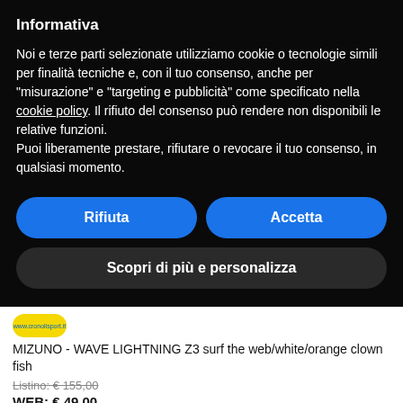Informativa
Noi e terze parti selezionate utilizziamo cookie o tecnologie simili per finalità tecniche e, con il tuo consenso, anche per "misurazione" e "targeting e pubblicità" come specificato nella cookie policy. Il rifiuto del consenso può rendere non disponibili le relative funzioni.
Puoi liberamente prestare, rifiutare o revocare il tuo consenso, in qualsiasi momento.
Rifiuta
Accetta
Scopri di più e personalizza
[Figure (logo): Website logo oval shape with www.cronolisport.it text in blue on yellow background]
MIZUNO - WAVE LIGHTNING Z3 surf the web/white/orange clown fish
Listino: € 155,00
WEB: € 49,00